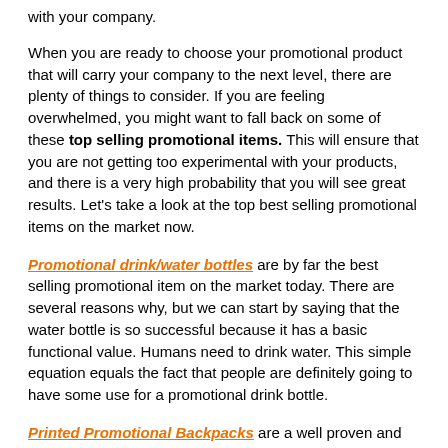with your company.
When you are ready to choose your promotional product that will carry your company to the next level, there are plenty of things to consider. If you are feeling overwhelmed, you might want to fall back on some of these top selling promotional items. This will ensure that you are not getting too experimental with your products, and there is a very high probability that you will see great results. Let’s take a look at the top best selling promotional items on the market now.
Promotional drink/water bottles are by far the best selling promotional item on the market today. There are several reasons why, but we can start by saying that the water bottle is so successful because it has a basic functional value. Humans need to drink water. This simple equation equals the fact that people are definitely going to have some use for a promotional drink bottle.
Printed Promotional Backpacks are a well proven and popular promotional product to advertise your brand. Once again this promotional item serves a basic function for the recipient – to